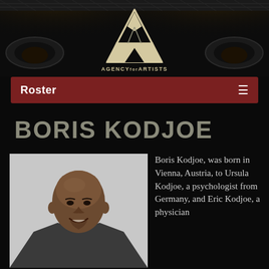[Figure (logo): Agency for Artists logo — stylized letter A in cream/white with crossed lines, on dark stage background with spotlights. Text below reads 'AGENCYforARTISTS'.]
Roster
BORIS KODJOE
[Figure (photo): Headshot photo of Boris Kodjoe, a bald Black man smiling, wearing a grey suit jacket and light pink shirt.]
Boris Kodjoe, was born in Vienna, Austria, to Ursula Kodjoe, a psychologist from Germany, and Eric Kodjoe, a physician